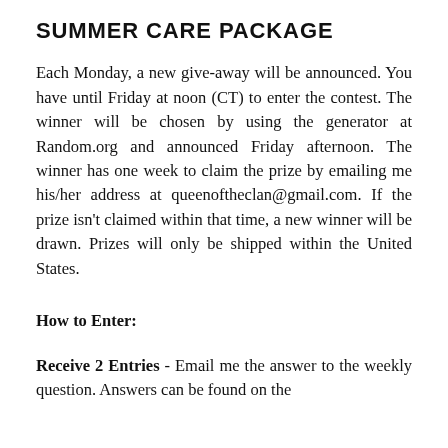SUMMER CARE PACKAGE
Each Monday, a new give-away will be announced. You have until Friday at noon (CT) to enter the contest. The winner will be chosen by using the generator at Random.org and announced Friday afternoon. The winner has one week to claim the prize by emailing me his/her address at queenoftheclan@gmail.com. If the prize isn't claimed within that time, a new winner will be drawn. Prizes will only be shipped within the United States.
How to Enter:
Receive 2 Entries - Email me the answer to the weekly question. Answers can be found on the